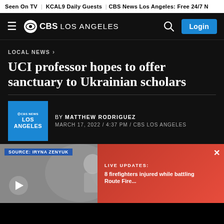Seen On TV | KCAL9 Daily Guests | CBS News Los Angeles: Free 24/7 N
[Figure (screenshot): CBS Los Angeles navigation bar with hamburger menu, CBS eye logo, search icon, and Login button]
LOCAL NEWS >
UCI professor hopes to offer sanctuary to Ukrainian scholars
BY MATTHEW RODRIGUEZ MARCH 17, 2022 / 4:37 PM / CBS LOS ANGELES
[Figure (photo): Video thumbnail showing people, with source badge reading SOURCE: IRYNA ZENYUK, play button on the left, and a red live updates banner on the right reading: LIVE UPDATES: 8 firefighters injured while battling Route Fire... with a close X button]